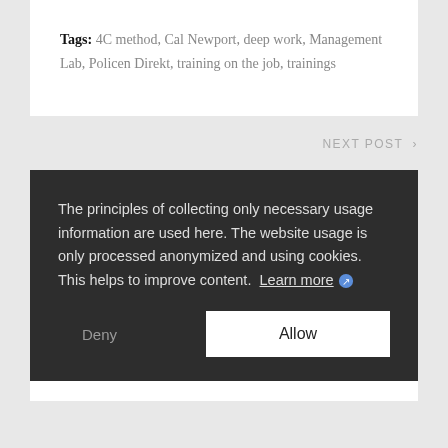Tags: 4C method, Cal Newport, deep work, Management Lab, Policen Direkt, training on the job, trainings
NEXT POST >
The principles of collecting only necessary usage information are used here. The website usage is only processed anonymized and using cookies. This helps to improve content. Learn more
Deny
Allow